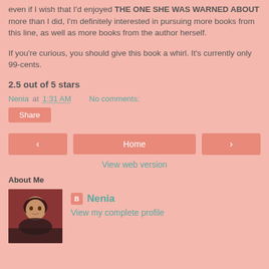even if I wish that I'd enjoyed THE ONE SHE WAS WARNED ABOUT more than I did, I'm definitely interested in pursuing more books from this line, as well as more books from the author herself.
If you're curious, you should give this book a whirl. It's currently only 99-cents.
2.5 out of 5 stars
Nenia at 1:31 AM    No comments:
Share
Home
View web version
About Me
[Figure (photo): Profile photo of Nenia - woman with brown hair against dark red background]
Nenia
View my complete profile